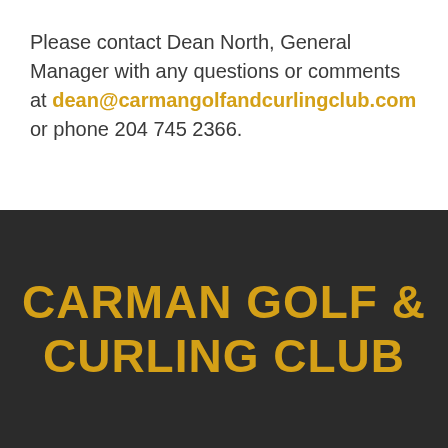Please contact Dean North, General Manager with any questions or comments at dean@carmangolfandcurlingclub.com or phone 204 745 2366.
CARMAN GOLF & CURLING CLUB